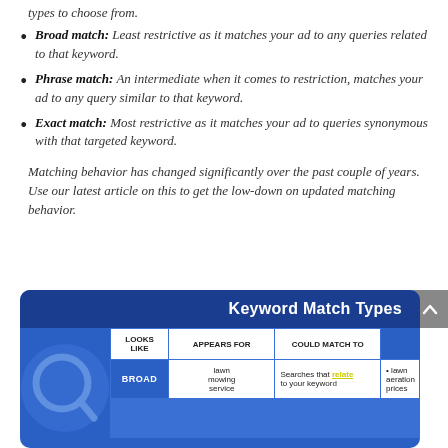types to choose from.
Broad match: Least restrictive as it matches your ad to any queries related to that keyword.
Phrase match: An intermediate when it comes to restriction, matches your ad to any query similar to that keyword.
Exact match: Most restrictive as it matches your ad to queries synonymous with that targeted keyword.
Matching behavior has changed significantly over the past couple of years. Use our latest article on this to get the low-down on updated matching behavior.
[Figure (infographic): Keyword Match Types infographic table showing Broad, Phrase, Exact match types with columns: Looks Like, Appears For, Could Match To. Broad row shows: lawn mowing service, Searches that relate to your keyword, lawn aeration prices.]